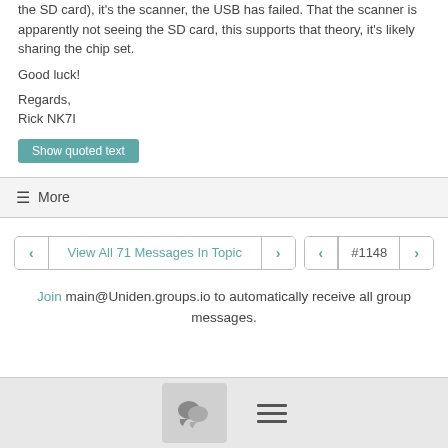the SD card), it's the scanner, the USB has failed. That the scanner is apparently not seeing the SD card, this supports that theory, it's likely sharing the chip set.
Good luck!
Regards,
Rick NK7I
Show quoted text
≡ More
View All 71 Messages In Topic
#1148
Join main@Uniden.groups.io to automatically receive all group messages.